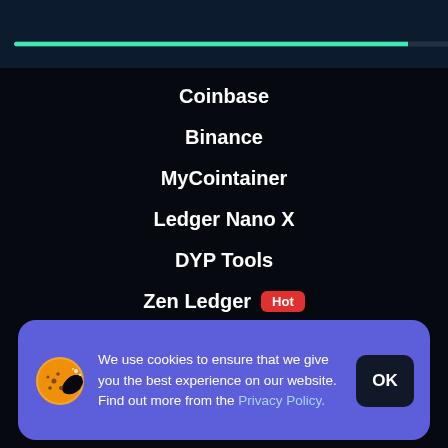[Figure (infographic): Progress bar at top — teal fill at ~88%, dark remainder, on dark navy background]
Coinbase
Binance
MyCointainer
Ledger Nano X
DYP Tools
Zen Ledger [Hot]
SolidProof [Audit]
We use cookies to ensure that we give you the best experience on our website. Find out more from the Privacy Policy.